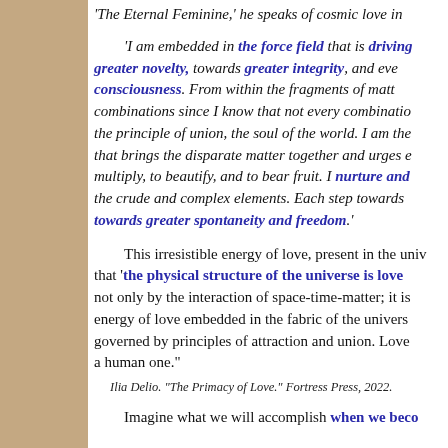'The Eternal Feminine,' he speaks of cosmic love in
'I am embedded in the force field that is driving greater novelty, towards greater integrity, and ever greater consciousness. From within the fragments of matter combinations since I know that not every combination the principle of union, the soul of the world. I am the that brings the disparate matter together and urges e multiply, to beautify, and to bear fruit. I nurture and the crude and complex elements. Each step towards towards greater spontaneity and freedom.'
This irresistible energy of love, present in the univ that 'the physical structure of the universe is love not only by the interaction of space-time-matter; it is energy of love embedded in the fabric of the univers governed by principles of attraction and union. Love a human one."
Ilia Delio. "The Primacy of Love." Fortress Press, 2022.
Imagine what we will accomplish when we beco